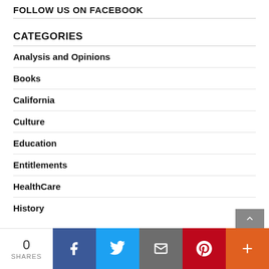FOLLOW US ON FACEBOOK
CATEGORIES
Analysis and Opinions
Books
California
Culture
Education
Entitlements
HealthCare
History
0 SHARES | Facebook | Twitter | Email | Pinterest | More